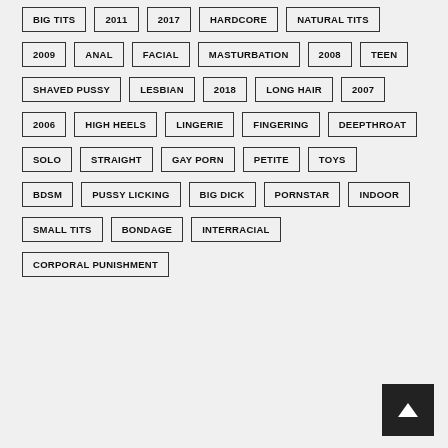BIG TITS
2011
2017
HARDCORE
NATURAL TITS
2009
ANAL
FACIAL
MASTURBATION
2008
TEEN
SHAVED PUSSY
LESBIAN
2018
LONG HAIR
2007
2006
HIGH HEELS
LINGERIE
FINGERING
DEEPTHROAT
SOLO
STRAIGHT
GAY PORN
PETITE
TOYS
BDSM
PUSSY LICKING
BIG DICK
PORNSTAR
INDOOR
SMALL TITS
BONDAGE
INTERRACIAL
CORPORAL PUNISHMENT